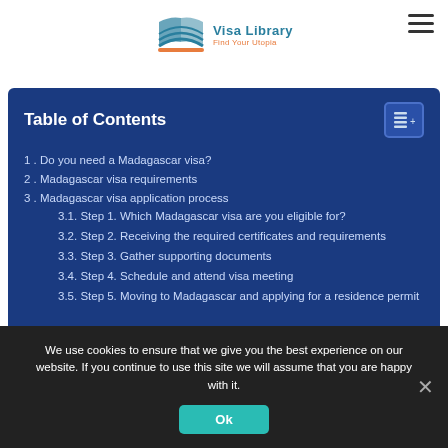Visa Library — Find Your Utopia
Table of Contents
1. Do you need a Madagascar visa?
2. Madagascar visa requirements
3. Madagascar visa application process
3.1. Step 1. Which Madagascar visa are you eligible for?
3.2. Step 2. Receiving the required certificates and requirements
3.3. Step 3. Gather supporting documents
3.4. Step 4. Schedule and attend visa meeting
3.5. Step 5. Moving to Madagascar and applying for a residence permit
We use cookies to ensure that we give you the best experience on our website. If you continue to use this site we will assume that you are happy with it.